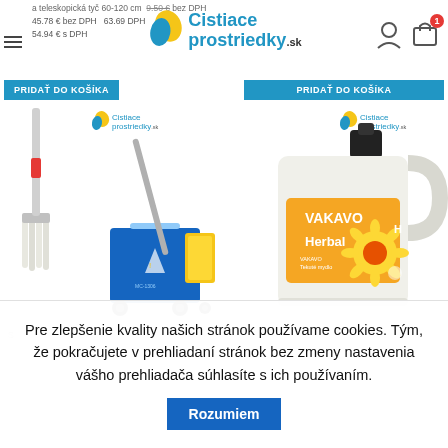[Figure (screenshot): Website header of Cistiace prostriedky.sk with logo, menu icon, price text, user/cart icons, and 'PRIDAŤ DO KOŠÍKA' buttons]
[Figure (photo): Product photo: blue cleaning mop trolley with yellow wringer and mop, branded with Cistiace prostriedky.sk watermark]
[Figure (photo): Product photo: large white plastic VAKAVO Herbal liquid soap/cleaning product container (5L jug), branded with Cistiace prostriedky.sk watermark]
Pre zlepšenie kvality našich stránok používame cookies. Tým, že pokračujete v prehliadaní stránok bez zmeny nastavenia vášho prehliadača súhlasíte s ich používaním.